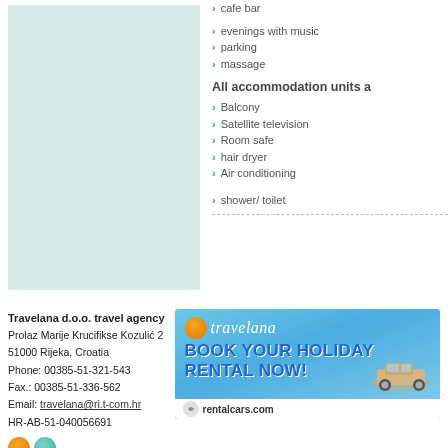[Figure (photo): Light teal/mint colored rectangular image panel]
cafe bar
evenings with music
parking
massage
All accommodation units a
Balcony
Satellite television
Room safe
hair dryer
Air conditioning
shower/ toilet
Travelana d.o.o. travel agency
Prolaz Marije Krucifikse Kozulić 2
51000 Rijeka, Croatia
Phone: 00385-51-321-543
Fax.: 00385-51-336-562
Email: travelana@ri.t-com.hr
HR-AB-51-040056691
[Figure (advertisement): Travelana / rentalcars.com advertisement: Book your holiday rental now, with car image and logos]